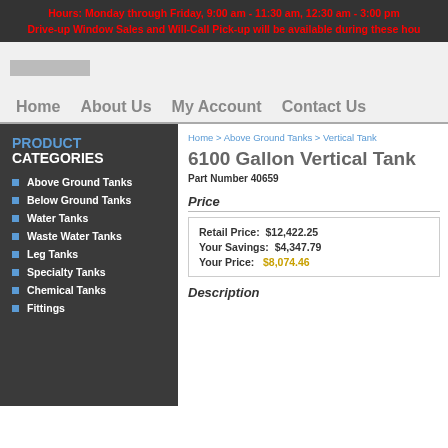Hours: Monday through Friday, 9:00 am - 11:30 am, 12:30 am - 3:00 pm
Drive-up Window Sales and Will-Call Pick-up will be available during these hours
Home
About Us
My Account
Contact Us
Above Ground Tanks
Below Ground Tanks
Water Tanks
Waste Water Tanks
Leg Tanks
Specialty Tanks
Chemical Tanks
Fittings
Home > Above Ground Tanks > Vertical Tanks
6100 Gallon Vertical Tank
Part Number 40659
Price
Retail Price: $12,422.25
Your Savings: $4,347.79
Your Price: $8,074.46
Description